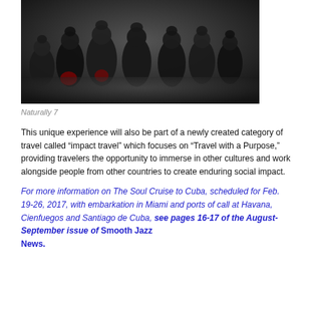[Figure (photo): Group photo of Naturally 7, a music group, several men wearing dark clothing including jackets and hats, posed together against a dark background]
Naturally 7
This unique experience will also be part of a newly created category of travel called “impact travel” which focuses on “Travel with a Purpose,” providing travelers the opportunity to immerse in other cultures and work alongside people from other countries to create enduring social impact.
For more information on The Soul Cruise to Cuba, scheduled for Feb. 19-26, 2017, with embarkation in Miami and ports of call at Havana, Cienfuegos and Santiago de Cuba, see pages 16-17 of the August-September issue of Smooth Jazz News.